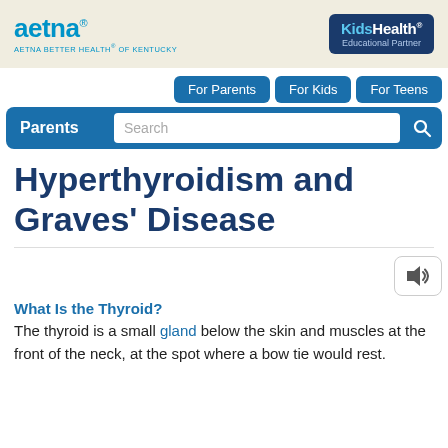aetna AETNA BETTER HEALTH® OF KENTUCKY | KidsHealth Educational Partner
[Figure (screenshot): Navigation bar with tabs: For Parents, For Kids, For Teens; and a search bar with Parents label and search icon]
Hyperthyroidism and Graves' Disease
[Figure (other): Audio speaker button]
What Is the Thyroid?
The thyroid is a small gland below the skin and muscles at the front of the neck, at the spot where a bow tie would rest.